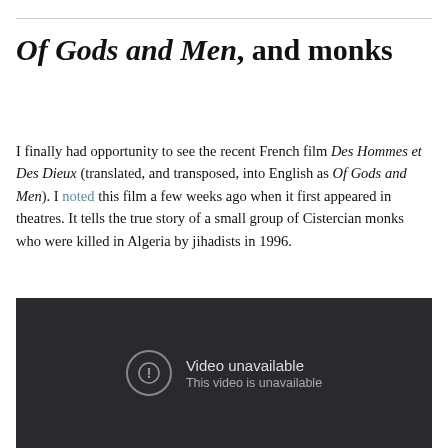Of Gods and Men, and monks
I finally had opportunity to see the recent French film Des Hommes et Des Dieux (translated, and transposed, into English as Of Gods and Men). I noted this film a few weeks ago when it first appeared in theatres. It tells the true story of a small group of Cistercian monks who were killed in Algeria by jihadists in 1996.
[Figure (screenshot): Embedded video player showing error message: 'Video unavailable / This video is unavailable' on a dark background.]